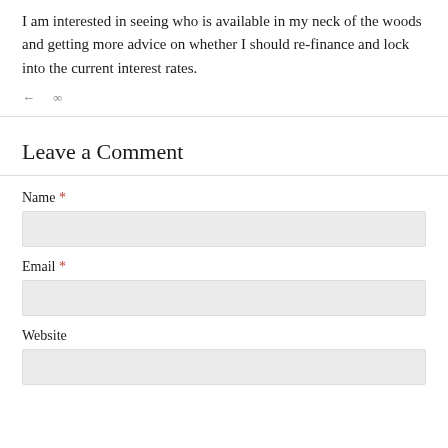I am interested in seeing who is available in my neck of the woods and getting more advice on whether I should re-finance and lock into the current interest rates.
Leave a Comment
Name *
Email *
Website